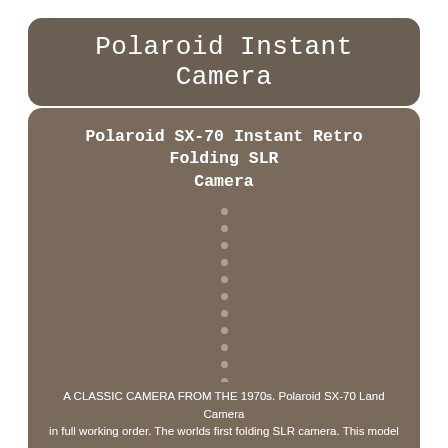Polaroid Instant Camera
Polaroid SX-70 Instant Retro Folding SLR Camera
A CLASSIC CAMERA FROM THE 1970s. Polaroid SX-70 Land Camera in full working order. The worlds first folding SLR camera. This model